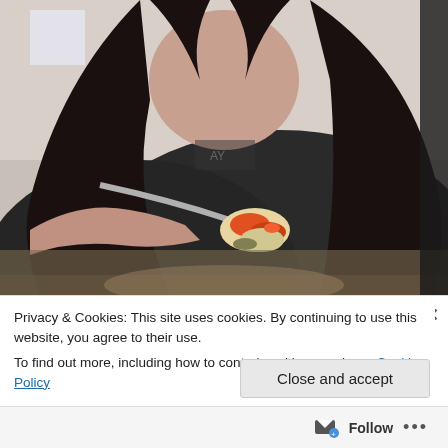[Figure (photo): A person with long dark hair wearing a dark hoodie, holding a fork with food (appears to be a colorful dish with sauce) on it, seated indoors.]
Privacy & Cookies: This site uses cookies. By continuing to use this website, you agree to their use.
To find out more, including how to control cookies, see here: Cookie Policy
Close and accept
Follow